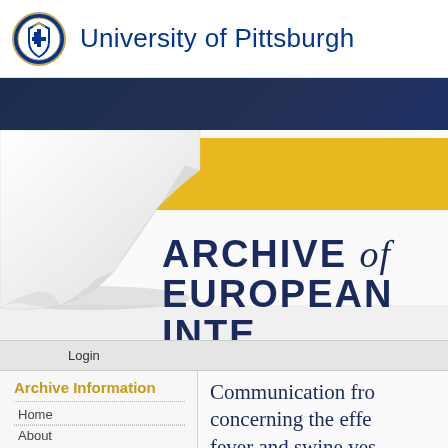University of Pittsburgh
[Figure (screenshot): Archive of European Integration website screenshot showing navy banner, page curl graphic over yellow stripe, large bold title 'ARCHIVE of EUROPEAN INTE' (partially cropped), navigation sidebar with Login bar, Archive Information link, Home, About links, and document title beginning 'Communication from... concerning the effec... fever and swine vesi...']
ARCHIVE of EUROPEAN INTE
Login
Archive Information
Home
About
Communication from concerning the effec fever and swine vesi